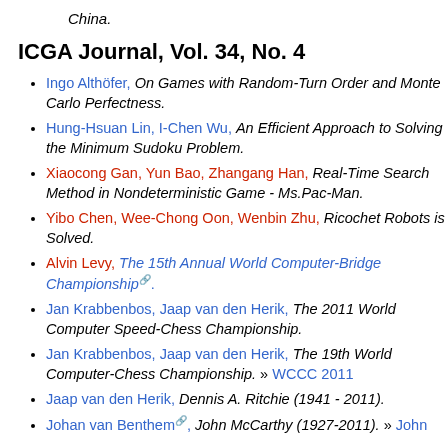China.
ICGA Journal, Vol. 34, No. 4
Ingo Althöfer, On Games with Random-Turn Order and Monte Carlo Perfectness.
Hung-Hsuan Lin, I-Chen Wu, An Efficient Approach to Solving the Minimum Sudoku Problem.
Xiaocong Gan, Yun Bao, Zhangang Han, Real-Time Search Method in Nondeterministic Game - Ms.Pac-Man.
Yibo Chen, Wee-Chong Oon, Wenbin Zhu, Ricochet Robots is Solved.
Alvin Levy, The 15th Annual World Computer-Bridge Championship.
Jan Krabbenbos, Jaap van den Herik, The 2011 World Computer Speed-Chess Championship.
Jan Krabbenbos, Jaap van den Herik, The 19th World Computer-Chess Championship. » WCCC 2011
Jaap van den Herik, Dennis A. Ritchie (1941 - 2011).
Johan van Benthem, John McCarthy (1927-2011). » John